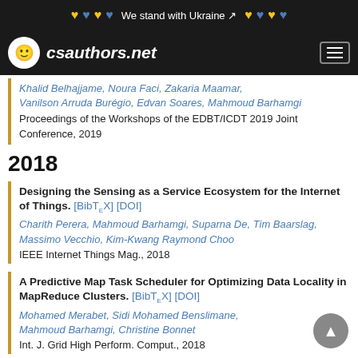We stand with Ukraine
csauthors.net
Khalid Belhajjame, Noura Faci, Zakaria Maamar, Vanilson Arruda Burégio, Edvan Soares, Mahmoud Barhamgi
Proceedings of the Workshops of the EDBT/ICDT 2019 Joint Conference, 2019
2018
Designing the Sensing as a Service Ecosystem for the Internet of Things. [BibTeX] [DOI]
Charith Perera, Mahmoud Barhamgi, Suparna De, Tim Baarslag, Massimo Vecchio, Kim-Kwang Raymond Choo
IEEE Internet Things Mag., 2018
A Predictive Map Task Scheduler for Optimizing Data Locality in MapReduce Clusters. [BibTeX] [DOI]
Mohamed Merabet, Sidi Mohamed Benslimane, Mahmoud Barhamgi, Christine Bonnet
Int. J. Grid High Perform. Comput., 2018